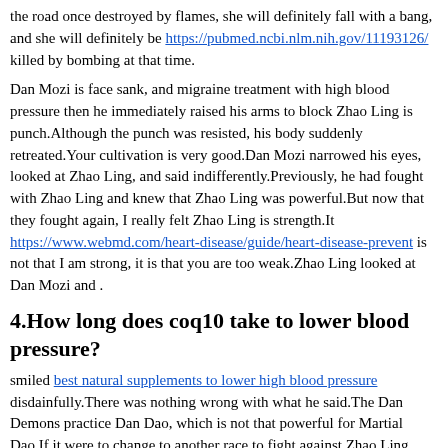the road once destroyed by flames, she will definitely fall with a bang, and she will definitely be https://pubmed.ncbi.nlm.nih.gov/11193126/ killed by bombing at that time.
Dan Mozi is face sank, and migraine treatment with high blood pressure then he immediately raised his arms to block Zhao Ling is punch.Although the punch was resisted, his body suddenly retreated.Your cultivation is very good.Dan Mozi narrowed his eyes, looked at Zhao Ling, and said indifferently.Previously, he had fought with Zhao Ling and knew that Zhao Ling was powerful.But now that they fought again, I really felt Zhao Ling is strength.It https://www.webmd.com/heart-disease/guide/heart-disease-prevent is not that I am strong, it is that you are too weak.Zhao Ling looked at Dan Mozi and .
4.How long does coq10 take to lower blood pressure?
smiled best natural supplements to lower high blood pressure disdainfully.There was nothing wrong with what he said.The Dan Demons practice Dan Dao, which is not that powerful for Martial Dao.If it were to change to another race to fight against Zhao Ling, migraine treatment with high blood pressure I am afraid that Zhao Ling would really need to spend a lot of how do i know blood